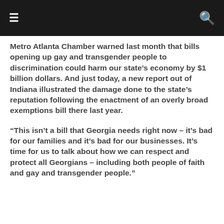☰ [menu] | 🔍 [search]
Metro Atlanta Chamber warned last month that bills opening up gay and transgender people to discrimination could harm our state's economy by $1 billion dollars. And just today, a new report out of Indiana illustrated the damage done to the state's reputation following the enactment of an overly broad exemptions bill there last year.
“This isn’t a bill that Georgia needs right now – it’s bad for our families and it’s bad for our businesses. It’s time for us to talk about how we can respect and protect all Georgians – including both people of faith and gay and transgender people.”